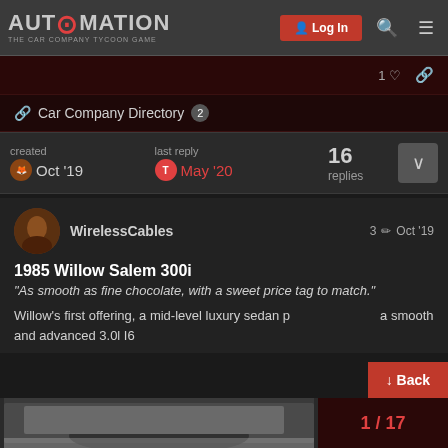AUTOMATION - THE CAR COMPANY TYCOON GAME | Log In
1 ♡ 🔗
🔗 Car Company Directory 2
created Oct '19  |  last reply T May '20  |  16 replies
WirelessCables  3 ✏  Oct '19
1985 Willow Salem 300i
"As smooth as fine chocolate, with a sweet price tag to match."

Willow's first offering, a mid-level luxury sedan p... a smooth and advanced 3.0l I6
[Figure (photo): Bottom portion showing a car photo thumbnail and pagination 1/17]